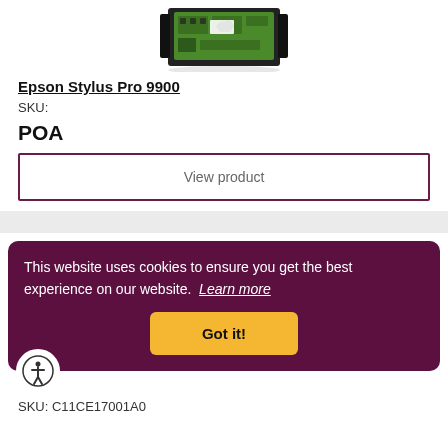[Figure (photo): Product image of Epson Stylus Pro 9900 printer component (green circuit board with black frame)]
Epson Stylus Pro 9900
SKU:
POA
View product
This website uses cookies to ensure you get the best experience on our website. Learn more
Got it!
SKU: C11CE17001A0